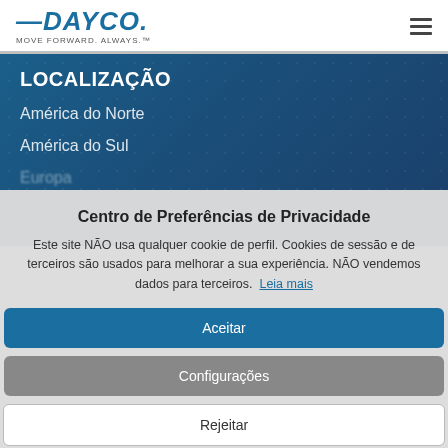DAYCO — MOVE FORWARD. ALWAYS.™
LOCALIZAÇÃO
América do Norte
América do Sul
Europa
Centro de Preferências de Privacidade
Este site NÃO usa qualquer cookie de perfil. Cookies de sessão e de terceiros são usados para melhorar a sua experiência. NÃO vendemos dados para terceiros. Leia mais
Aceitar
Configurações
Rejeitar